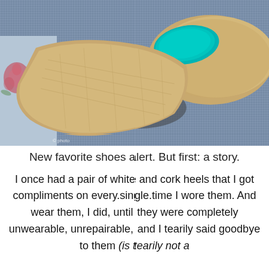[Figure (photo): Close-up photograph of tan/beige woven wedge shoes with teal/turquoise insoles, resting on blue denim fabric with a floral patterned fabric visible on the left side.]
New favorite shoes alert. But first: a story.
I once had a pair of white and cork heels that I got compliments on every.single.time I wore them. And wear them, I did, until they were completely unwearable, unrepairable, and I tearily said goodbye to them (is tearily not a